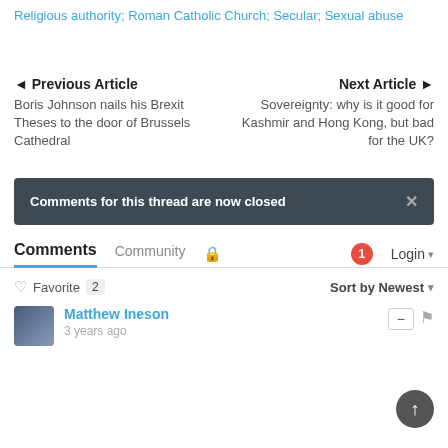Religious authority; Roman Catholic Church; Secular; Sexual abuse
◄ Previous Article
Boris Johnson nails his Brexit Theses to the door of Brussels Cathedral
Next Article ►
Sovereignty: why is it good for Kashmir and Hong Kong, but bad for the UK?
Comments for this thread are now closed ×
Comments  Community  🔒  1  Login ▾
♡ Favorite  2    Sort by Newest ▾
Matthew Ineson
3 years ago